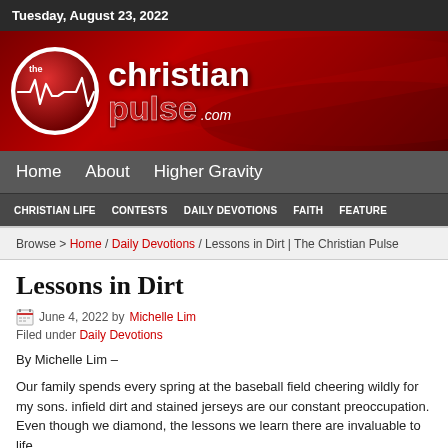Tuesday, August 23, 2022
[Figure (logo): The Christian Pulse logo with heartbeat line in red circle and site name text on red gradient banner]
Home | About | Higher Gravity
CHRISTIAN LIFE | CONTESTS | DAILY DEVOTIONS | FAITH | FEATURED
Browse > Home / Daily Devotions / Lessons in Dirt | The Christian Pulse
Lessons in Dirt
June 4, 2022 by Michelle Lim
Filed under Daily Devotions
By Michelle Lim –
Our family spends every spring at the baseball field cheering wildly for my sons. infield dirt and stained jerseys are our constant preoccupation. Even though we diamond, the lessons we learn there are invaluable to life.